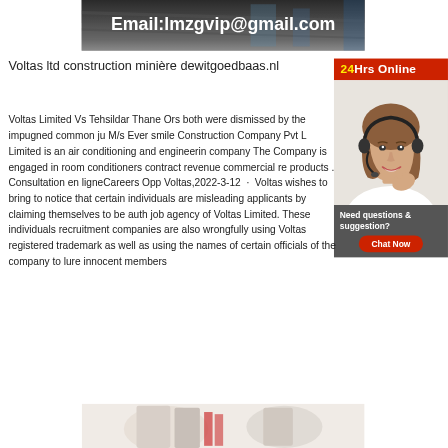[Figure (photo): Dark banner image showing construction/industrial site with email text overlay: Email:lmzgvip@gmail.com]
Voltas ltd construction minière dewitgoedbaas.nl
[Figure (infographic): 24Hrs Online widget with photo of woman with headset and Chat Now button]
Voltas Limited Vs Tehsildar Thane Ors both were dismissed by the impugned common ju M/s Ever smile Construction Company Pvt L Limited is an air conditioning and engineerin company The Company is engaged in room conditioners contract revenue commercial re products . Consultation en ligneCareers Opp Voltas,2022-3-12 · Voltas wishes to bring to notice that certain individuals are misleading applicants by claiming themselves to be auth job agency of Voltas Limited. These individuals recruitment companies are also wrongfully using Voltas registered trademark as well as using the names of certain officials of the company to lure innocent members
[Figure (photo): Bottom industrial/construction image (partial, cut off)]